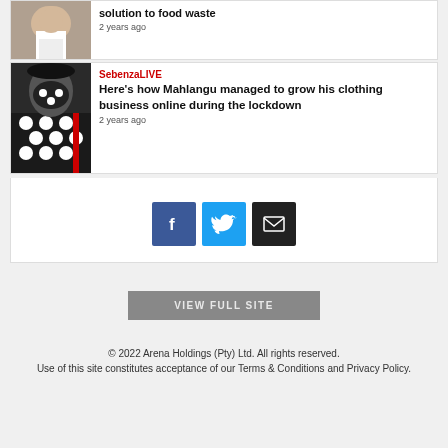[Figure (photo): Top article thumbnail - person in white clothing, cropped]
solution to food waste
2 years ago
[Figure (photo): Article thumbnail - person wearing a patterned black and white mask and clothing]
SebenzaLIVE
Here's how Mahlangu managed to grow his clothing business online during the lockdown
2 years ago
[Figure (infographic): Social share buttons: Facebook (blue), Twitter (light blue), Email (dark/black)]
VIEW FULL SITE
© 2022 Arena Holdings (Pty) Ltd. All rights reserved.
Use of this site constitutes acceptance of our Terms & Conditions and Privacy Policy.